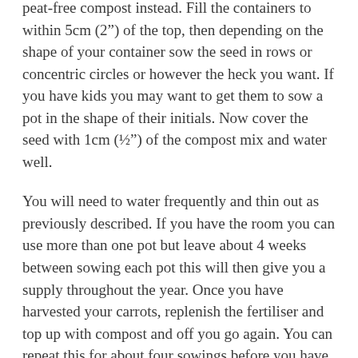peat-free compost instead. Fill the containers to within 5cm (2") of the top, then depending on the shape of your container sow the seed in rows or concentric circles or however the heck you want. If you have kids you may want to get them to sow a pot in the shape of their initials. Now cover the seed with 1cm (½") of the compost mix and water well.
You will need to water frequently and thin out as previously described. If you have the room you can use more than one pot but leave about 4 weeks between sowing each pot this will then give you a supply throughout the year. Once you have harvested your carrots, replenish the fertiliser and top up with compost and off you go again. You can repeat this for about four sowings before you have to refresh the compost.
I have done so but I don’t see any reason why you couldn’t try growing some carrots in containers in a